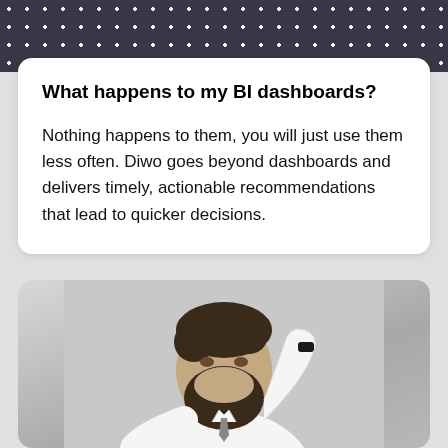[Figure (photo): Top portion of a person wearing a dark polka-dot blouse, cropped at the shoulders/chin level]
What happens to my BI dashboards?
Nothing happens to them, you will just use them less often. Diwo goes beyond dashboards and delivers timely, actionable recommendations that lead to quicker decisions.
[Figure (photo): A confused-looking bearded man in a white shirt scratching his head with one hand raised, against a light gray background]